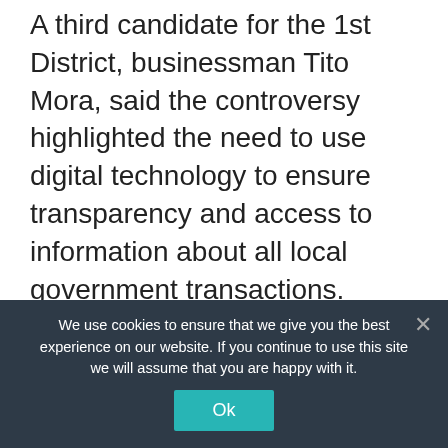A third candidate for the 1st District, businessman Tito Mora, said the controversy highlighted the need to use digital technology to ensure transparency and access to information about all local government transactions.
The second half of the forum allowed two candidates for congressional candidates in the city's 2nd District – reelectionist Rufus Rodriguez and businesswoman Irene Floro – to square off.
We use cookies to ensure that we give you the best experience on our website. If you continue to use this site we will assume that you are happy with it.